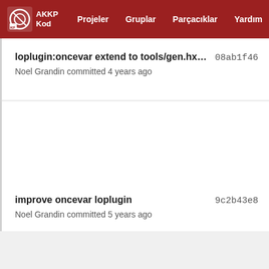AKKP Kod | Projeler | Gruplar | Parçacıklar | Yardım
loplugin:oncevar extend to tools/gen.hxx t...  08ab1f46
Noel Grandin committed 4 years ago
improve oncevar loplugin  9c2b43e8
Noel Grandin committed 5 years ago